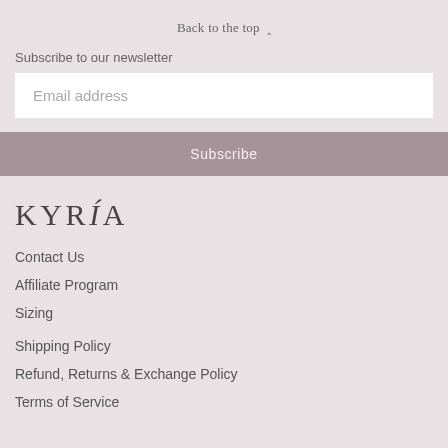Back to the top ^
Subscribe to our newsletter
Email address
Subscribe
[Figure (logo): KYRÍA brand logo in serif font]
Contact Us
Affiliate Program
Sizing
Shipping Policy
Refund, Returns & Exchange Policy
Terms of Service